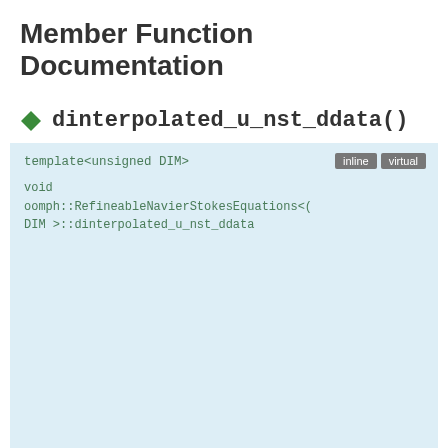Member Function Documentation
dinterpolated_u_nst_ddata()
template<unsigned DIM>
void oomph::RefineableNavierStokesEquations<DIM>::dinterpolated_u_nst_ddata(
const Vector< double > & s,
const unsigned i,
Vector< double > du_ddata,
&
Vector< unsigned global_eqn_n... > &
)
Computes the derivatives of the i-th component of velocity at...